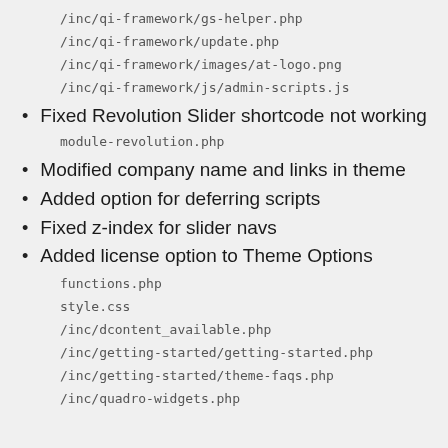/inc/qi-framework/gs-helper.php
/inc/qi-framework/update.php
/inc/qi-framework/images/at-logo.png
/inc/qi-framework/js/admin-scripts.js
Fixed Revolution Slider shortcode not working
module-revolution.php
Modified company name and links in theme
Added option for deferring scripts
Fixed z-index for slider navs
Added license option to Theme Options
functions.php
style.css
/inc/dcontent_available.php
/inc/getting-started/getting-started.php
/inc/getting-started/theme-faqs.php
/inc/quadro-widgets.php